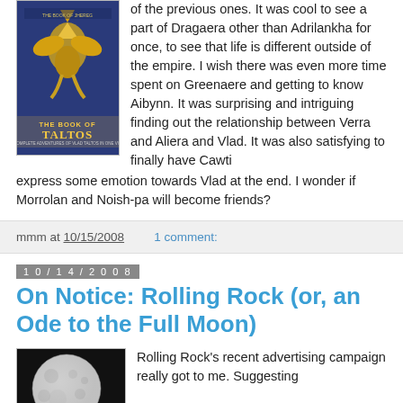[Figure (photo): Book cover of 'The Book of Taltos' with blue background and golden griffin/bird figure]
of the previous ones. It was cool to see a part of Dragaera other than Adrilankha for once, to see that life is different outside of the empire. I wish there was even more time spent on Greenaere and getting to know Aibynn. It was surprising and intriguing finding out the relationship between Verra and Aliera and Vlad. It was also satisfying to finally have Cawti express some emotion towards Vlad at the end. I wonder if Morrolan and Noish-pa will become friends?
mmm at 10/15/2008    1 comment:
10/14/2008
On Notice: Rolling Rock (or, an Ode to the Full Moon)
[Figure (photo): Black and white photo of a full moon]
Rolling Rock's recent advertising campaign really got to me. Suggesting